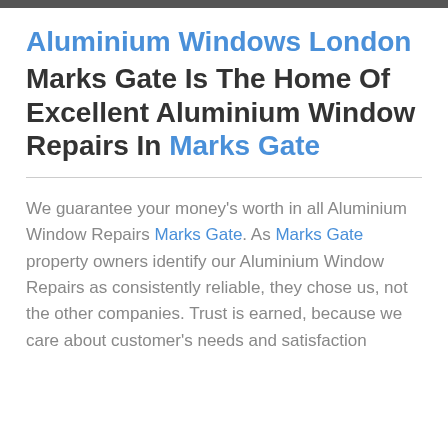Aluminium Windows London Marks Gate Is The Home Of Excellent Aluminium Window Repairs In Marks Gate
We guarantee your money's worth in all Aluminium Window Repairs Marks Gate. As Marks Gate property owners identify our Aluminium Window Repairs as consistently reliable, they chose us, not the other companies. Trust is earned, because we care about customer's needs and satisfaction